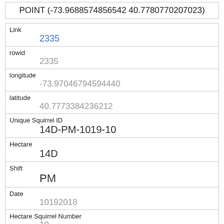POINT (-73.9688574856542 40.7780770207023)
| Link | 2335 |
| rowid | 2335 |
| longitude | -73.97046794594440 |
| latitude | 40.7773384236212 |
| Unique Squirrel ID | 14D-PM-1019-10 |
| Hectare | 14D |
| Shift | PM |
| Date | 10192018 |
| Hectare Squirrel Number | 10 |
| Age |  |